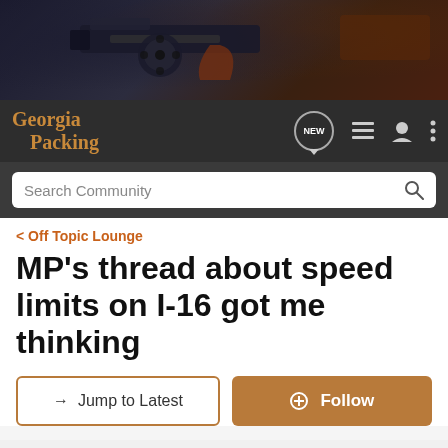[Figure (photo): Close-up photo of a firearm/gun on a dark textured background with red/brown accents]
Georgia Packing
Search Community
< Off Topic Lounge
MP's thread about speed limits on I-16 got me thinking
→ Jump to Latest
+ Follow
1 - 20 of 46 Posts
1 of 3
Shatho · Registered